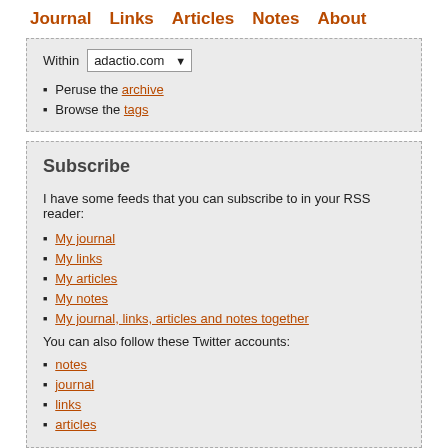Journal  Links  Articles  Notes  About
Peruse the archive
Browse the tags
Subscribe
I have some feeds that you can subscribe to in your RSS reader:
My journal
My links
My articles
My notes
My journal, links, articles and notes together
You can also follow these Twitter accounts:
notes
journal
links
articles